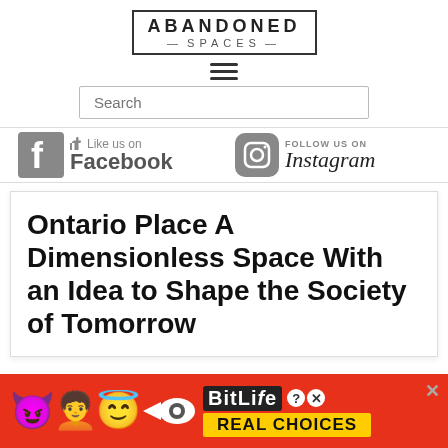ABANDONED SPACES
[Figure (logo): Abandoned Spaces logo in a rectangular border with hamburger menu icon below]
[Figure (screenshot): Search bar input field]
[Figure (logo): Facebook Like us on Facebook social link with Facebook icon]
[Figure (logo): Follow us on Instagram social link with Instagram icon]
Ontario Place A Dimensionless Space With an Idea to Shape the Society of Tomorrow
[Figure (advertisement): BitLife Real Choices advertisement banner with emoji characters on red background]